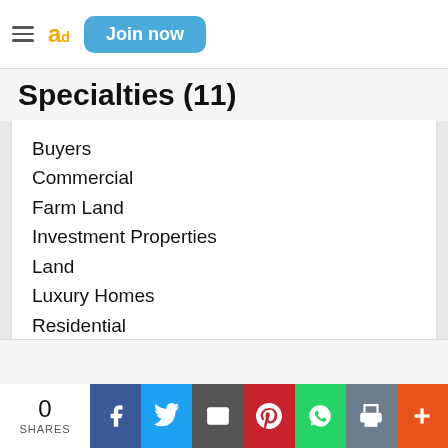ad  Join now
Specialties (11)
Buyers
Commercial
Farm Land
Investment Properties
Land
Luxury Homes
Residential
Sellers
Seniors
Staging
Vacation/Resort Properties
0 SHARES